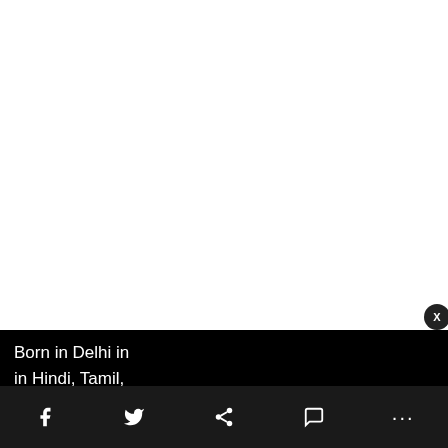Born in Delhi in ... in Hindi, Tamil, ...
[Figure (screenshot): Notification card overlay showing 'Adani Power Buys DB Power For Rs. 7,000 Crore' with a thumbnail image of power plant towers lit at night, and timestamp '13 hours ago'. A close button marked X appears top-right. Below is a dark bottom navigation bar with social sharing icons: Facebook, Twitter, share, comment, and more (···).]